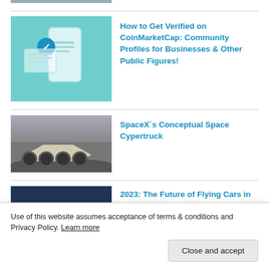[Figure (photo): Partial top image strip - cropped photo of a person]
[Figure (photo): Thumbnail image: smartphone with blue verification checkmark on teal background]
How to Get Verified on CoinMarketCap: Community Profiles for Businesses & Other Public Figures!
[Figure (photo): Thumbnail image: SpaceX conceptual space Cybertruck vehicle on moon surface, black and white photo]
SpaceX`s Conceptual Space Cypertruck
[Figure (photo): Partial thumbnail image: flying cars article, dark blue image, partially obscured by cookie banner]
2023: The Future of Flying Cars in Japan
Use of this website assumes acceptance of terms & conditions and Privacy Policy. Learn more
Close and accept